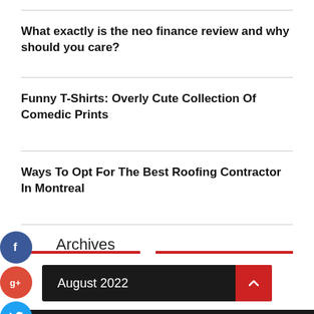What exactly is the neo finance review and why should you care?
Funny T-Shirts: Overly Cute Collection Of Comedic Prints
Ways To Opt For The Best Roofing Contractor In Montreal
Archives
August 2022